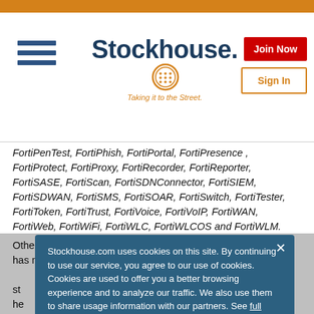Stockhouse. Taking it to the Street.
FortiPenTest, FortiPhish, FortiPortal, FortiPresence , FortiProtect, FortiProxy, FortiRecorder, FortiReporter, FortiSASE, FortiScan, FortiSDNConnector, FortiSIEM, FortiSDWAN, FortiSMS, FortiSOAR, FortiSwitch, FortiTester, FortiToken, FortiTrust, FortiVoice, FortiVoIP, FortiWAN, FortiWeb, FortiWiFi, FortiWLC, FortiWLCOS and FortiWLM.
Other trademarks belong to their respective owners. Fortinet has not independently verified statements or certifications attributed to third parties and Fortinet does not independently endorse such statements. Notwithstanding anything to the contrary herein, nothing herein constitutes a warranty, guarantee, contract, binding specification or other binding commitment by Fortinet or any indication of intent related to a binding commitment, and performance and other specification information herein may be unique to certain environments. This news release contains forward-looking statements
Stockhouse.com uses cookies on this site. By continuing to use our service, you agree to our use of cookies. Cookies are used to offer you a better browsing experience and to analyze our traffic. We also use them to share usage information with our partners. See full details.
I Agree